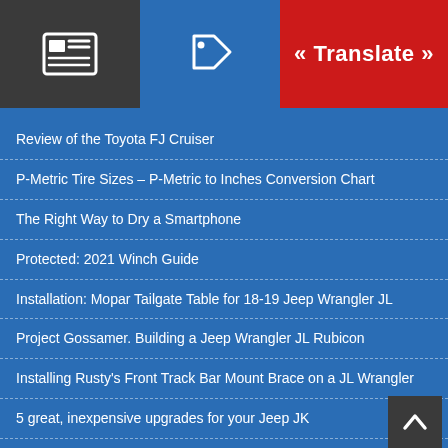« Translate »
Review of the Toyota FJ Cruiser
P-Metric Tire Sizes – P-Metric to Inches Conversion Chart
The Right Way to Dry a Smartphone
Protected: 2021 Winch Guide
Installation: Mopar Tailgate Table for 18-19 Jeep Wrangler JL
Project Gossamer. Building a Jeep Wrangler JL Rubicon
Installing Rusty's Front Track Bar Mount Brace on a JL Wrangler
5 great, inexpensive upgrades for your Jeep JK
What are Sipes in a tire?
Differential Gear Ratio to Tire Size Guide